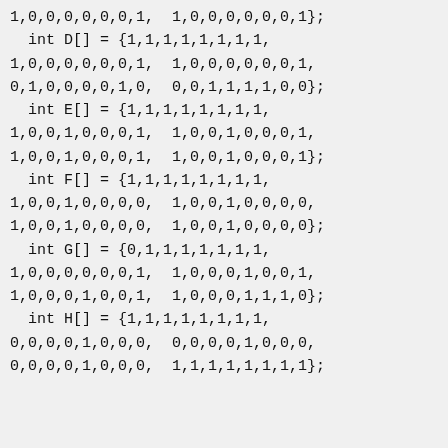1,0,0,0,0,0,0,1,  1,0,0,0,0,0,0,1};
  int D[] = {1,1,1,1,1,1,1,1,
1,0,0,0,0,0,0,1,  1,0,0,0,0,0,0,1,
0,1,0,0,0,0,1,0,  0,0,1,1,1,1,0,0};
  int E[] = {1,1,1,1,1,1,1,1,
1,0,0,1,0,0,0,1,  1,0,0,1,0,0,0,1,
1,0,0,1,0,0,0,1,  1,0,0,1,0,0,0,1};
  int F[] = {1,1,1,1,1,1,1,1,
1,0,0,1,0,0,0,0,  1,0,0,1,0,0,0,0,
1,0,0,1,0,0,0,0,  1,0,0,1,0,0,0,0};
  int G[] = {0,1,1,1,1,1,1,1,
1,0,0,0,0,0,0,1,  1,0,0,0,1,0,0,1,
1,0,0,0,1,0,0,1,  1,0,0,0,1,1,1,0};
  int H[] = {1,1,1,1,1,1,1,1,
0,0,0,0,1,0,0,0,  0,0,0,0,1,0,0,0,
0,0,0,0,1,0,0,0,  1,1,1,1,1,1,1,1};